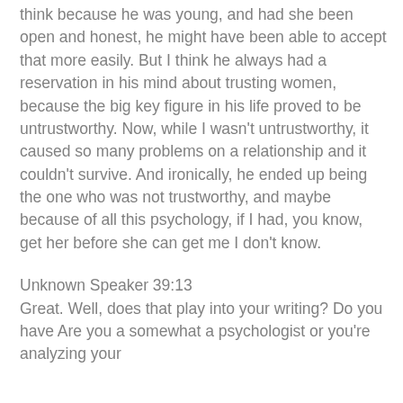think because he was young, and had she been open and honest, he might have been able to accept that more easily. But I think he always had a reservation in his mind about trusting women, because the big key figure in his life proved to be untrustworthy. Now, while I wasn't untrustworthy, it caused so many problems on a relationship and it couldn't survive. And ironically, he ended up being the one who was not trustworthy, and maybe because of all this psychology, if I had, you know, get her before she can get me I don't know.
Unknown Speaker 39:13
Great. Well, does that play into your writing? Do you have Are you a somewhat a psychologist or you're analyzing your